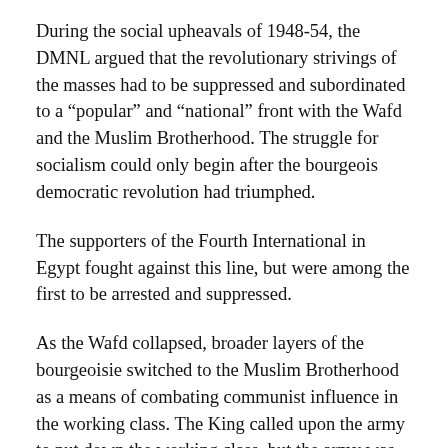During the social upheavals of 1948-54, the DMNL argued that the revolutionary strivings of the masses had to be suppressed and subordinated to a “popular” and “national” front with the Wafd and the Muslim Brotherhood. The struggle for socialism could only begin after the bourgeois democratic revolution had triumphed.
The supporters of the Fourth International in Egypt fought against this line, but were among the first to be arrested and suppressed.
As the Wafd collapsed, broader layers of the bourgeoisie switched to the Muslim Brotherhood as a means of combating communist influence in the working class. The King called upon the army to put down the working class, but the army was seething with discontent over its defeat in Palestine. In 1949, sections inside the army had formed the Free Officers Movement. Many were influenced by the Muslim Brotherhood, including Colonel Gamal Abdel...